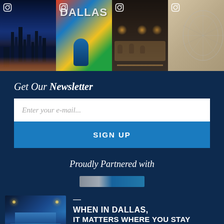[Figure (photo): Instagram photo grid showing 4 images: Dallas night skyline, Dallas mural street art with person posing, people at conference tables in dim lighting, abstract wire sculpture in gallery. Instagram icons visible on each image.]
Get Our Newsletter
[Figure (screenshot): Email signup form with input field placeholder 'Enter your e-mail...' and a blue SIGN UP button]
Proudly Partnered with
[Figure (logo): Partially visible partner logo]
[Figure (photo): Hotel aerial photo showing illuminated pool area at night]
WHEN IN DALLAS, IT MATTERS WHERE YOU STAY